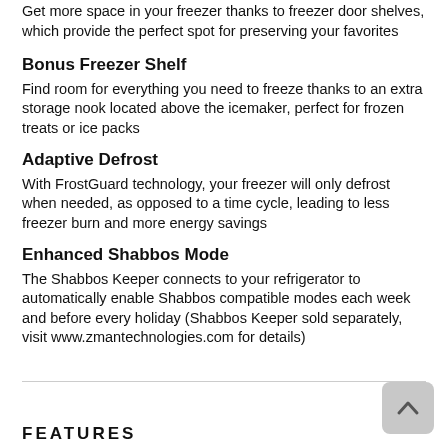Get more space in your freezer thanks to freezer door shelves, which provide the perfect spot for preserving your favorites
Bonus Freezer Shelf
Find room for everything you need to freeze thanks to an extra storage nook located above the icemaker, perfect for frozen treats or ice packs
Adaptive Defrost
With FrostGuard technology, your freezer will only defrost when needed, as opposed to a time cycle, leading to less freezer burn and more energy savings
Enhanced Shabbos Mode
The Shabbos Keeper connects to your refrigerator to automatically enable Shabbos compatible modes each week and before every holiday (Shabbos Keeper sold separately, visit www.zmantechnologies.com for details)
FEATURES